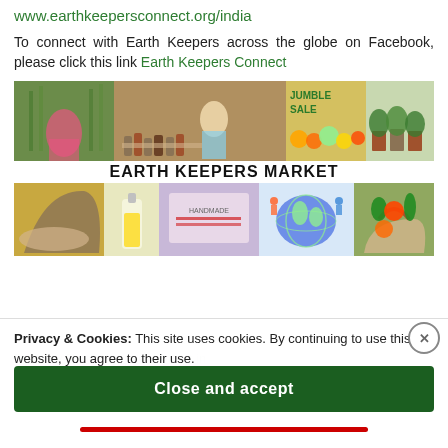www.earthkeepersconnect.org/india
To connect with Earth Keepers across the globe on Facebook, please click this link Earth Keepers Connect
[Figure (photo): Earth Keepers Market collage banner showing vegetables, market stall, jungle sale produce, handmade goods, world map graphic, and vegetable basket with the title EARTH KEEPERS MARKET]
Privacy & Cookies: This site uses cookies. By continuing to use this website, you agree to their use.
To find out more, including how to control cookies, see here:
Cookie Policy
Close and accept